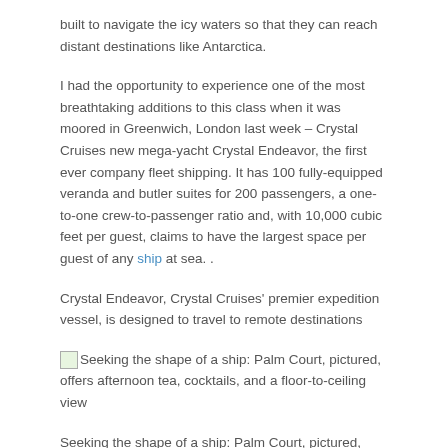built to navigate the icy waters so that they can reach distant destinations like Antarctica.
I had the opportunity to experience one of the most breathtaking additions to this class when it was moored in Greenwich, London last week – Crystal Cruises new mega-yacht Crystal Endeavor, the first ever company fleet shipping. It has 100 fully-equipped veranda and butler suites for 200 passengers, a one-to-one crew-to-passenger ratio and, with 10,000 cubic feet per guest, claims to have the largest space per guest of any ship at sea. .
Crystal Endeavor, Crystal Cruises' premier expedition vessel, is designed to travel to remote destinations
[Figure (photo): Image placeholder for Palm Court photo]
Seeking the shape of a ship: Palm Court, pictured, offers afternoon tea, cocktails, and a floor-to-ceiling view
Seeking the shape of a ship: Palm Court, pictured, offers afternoon tea, cocktails, and a floor-to-ceiling view